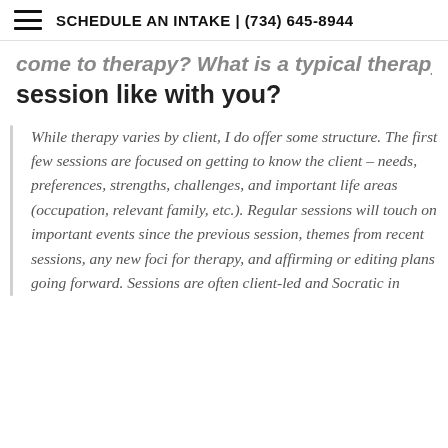SCHEDULE AN INTAKE | (734) 645-8944
come to therapy? What is a typical therapy session like with you?
While therapy varies by client, I do offer some structure. The first few sessions are focused on getting to know the client – needs, preferences, strengths, challenges, and important life areas (occupation, relevant family, etc.). Regular sessions will touch on important events since the previous session, themes from recent sessions, any new foci for therapy, and affirming or editing plans going forward. Sessions are often client-led and Socratic in